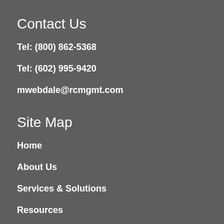Contact Us
Tel: (800) 862-5368
Tel: (602) 995-9420
mwebdale@rcmgmt.com
Site Map
Home
About Us
Services & Solutions
Resources
News & Events